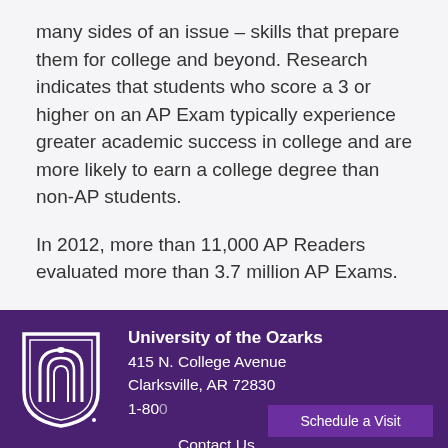many sides of an issue – skills that prepare them for college and beyond. Research indicates that students who score a 3 or higher on an AP Exam typically experience greater academic success in college and are more likely to earn a college degree than non-AP students.
In 2012, more than 11,000 AP Readers evaluated more than 3.7 million AP Exams.
Topics: Biology
[Figure (logo): University of the Ozarks shield logo in white on purple background]
University of the Ozarks
415 N. College Avenue
Clarksville, AR 72830
1-800-...
Schedule a Visit
Contact Us